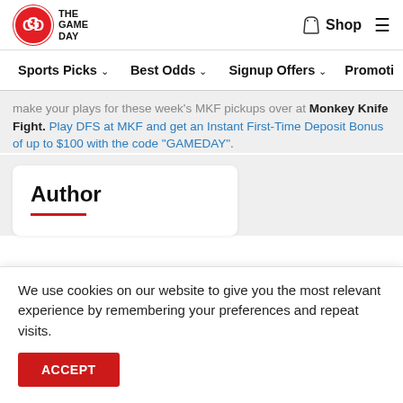[Figure (logo): The Game Day logo with red circular GD icon and bold text]
Shop  ☰
Sports Picks ∨   Best Odds ∨   Signup Offers ∨   Promoti…
make your plays for these week's MKF pickups over at Monkey Knife Fight. Play DFS at MKF and get an Instant First-Time Deposit Bonus of up to $100 with the code "GAMEDAY".
Author
We use cookies on our website to give you the most relevant experience by remembering your preferences and repeat visits.